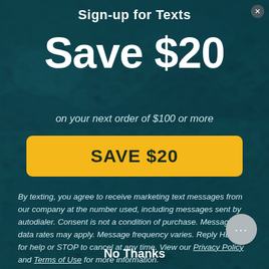Sign-up for Texts
Save $20
on your next order of $100 or more
[Figure (other): Yellow CTA button with bold text SAVE $20]
By texting, you agree to receive marketing text messages from our company at the number used, including messages sent by autodialer. Consent is not a condition of purchase. Message and data rates may apply. Message frequency varies. Reply HELP for help or STOP to cancel at any time. View our Privacy Policy and Terms of Use for more information.
No Thanks